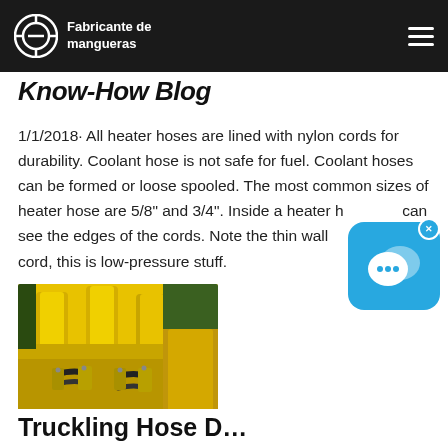Fabricante de mangueras
Know-How Blog
1/1/2018· All heater hoses are lined with nylon cords for durability. Coolant hose is not safe for fuel. Coolant hoses can be formed or loose spooled. The most common sizes of heater hose are 5/8" and 3/4". Inside a heater hose you can see the edges of the cords. Note the thin wall and sparse cord, this is low-pressure stuff.
[Figure (photo): Yellow industrial machinery with black hydraulic hoses attached to yellow fittings and cylinders]
Trucking Hose D...